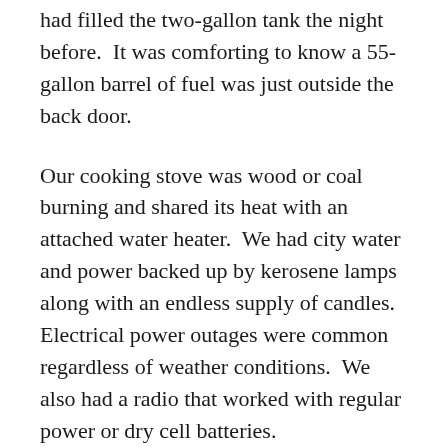had filled the two-gallon tank the night before. It was comforting to know a 55-gallon barrel of fuel was just outside the back door.
Our cooking stove was wood or coal burning and shared its heat with an attached water heater. We had city water and power backed up by kerosene lamps along with an endless supply of candles. Electrical power outages were common regardless of weather conditions. We also had a radio that worked with regular power or dry cell batteries.
Protocol of the times dictated that we remain sheltered until the storm lifted, and conditions stabilized. Almost no one was expected to